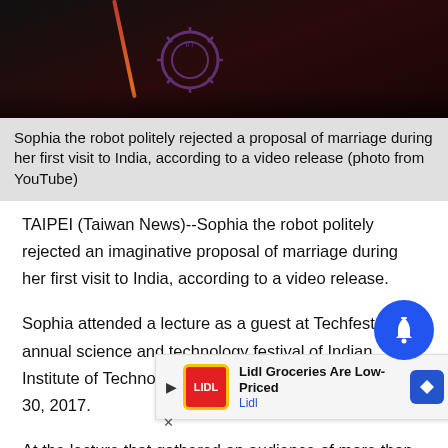[Figure (photo): Photo of Sophia the robot on stage at an event, with a microphone and IIT Bombay gear logo backdrop]
Sophia the robot politely rejected a proposal of marriage during her first visit to India, according to a video release (photo from YouTube)
TAIPEI (Taiwan News)--Sophia the robot politely rejected an imaginative proposal of marriage during her first visit to India, according to a video release.
Sophia attended a lecture as a guest at Techfest, the annual science and technology festival of Indian Institute of Technology Bombay, in India on December 30, 2017.
At the lecture that gathered an audience of more than people, Sophia was on stage answering questions from the hostessould
[Figure (screenshot): Lidl Groceries Are Low-Priced advertisement banner with Lidl logo and navigation arrow]